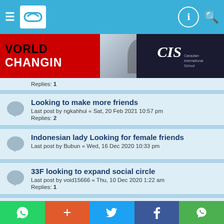Navigation bar with hamburger menu, logo, user icon, and search icon
[Figure (photo): Advertisement banner: WORLD CHANGIN[G] text on red background with photo of masked woman writing, CIS Canadian International School logo on dark background]
Replies: 1
Looking to make more friends
Last post by ngkahhui « Sat, 20 Feb 2021 10:57 pm
Replies: 2
Indonesian lady Looking for female friends
Last post by Bubun « Wed, 16 Dec 2020 10:33 pm
33F looking to expand social circle
Last post by void15666 « Thu, 10 Dec 2020 1:22 am
Replies: 1
36 female looking for girls friends
Last post by Muskan01 « Sun, 06 Dec 2020 2:52 pm
Replies: 11
Share buttons: WhatsApp, +, Twitter, Facebook, WeChat